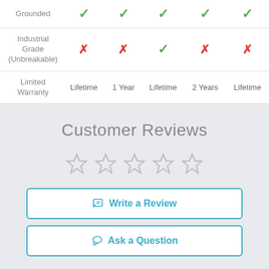| Feature | Col1 | Col2 | Col3 | Col4 | Col5 |
| --- | --- | --- | --- | --- | --- |
| Grounded | ✓ | ✓ | ✓ | ✓ | ✓ |
| Industrial Grade (Unbreakable) | ✗ | ✗ | ✓ | ✗ | ✗ |
| Limited Warranty | Lifetime | 1 Year | Lifetime | 2 Years | Lifetime |
Customer Reviews
[Figure (other): Five empty star rating icons]
Write a Review
Ask a Question